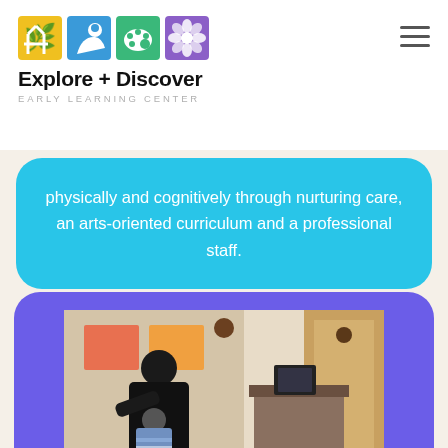[Figure (logo): Explore + Discover Early Learning Center logo with four colored square icons (yellow, blue, green, purple) showing nature/art motifs]
Explore + Discover
EARLY LEARNING CENTER
physically and cognitively through nurturing care, an arts-oriented curriculum and a professional staff.
[Figure (photo): A woman (teacher/caregiver) holding a young child inside a classroom/office space with artwork on walls and pendant lights. Purple rounded-rectangle background.]